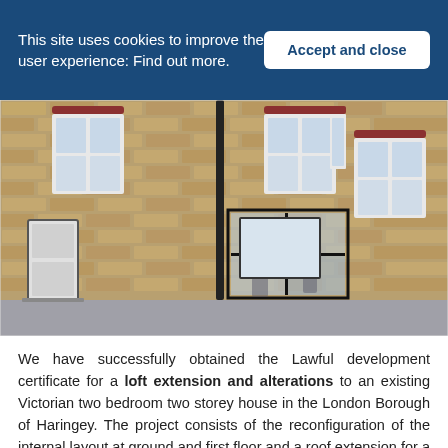This site uses cookies to improve the user experience: Find out more.
Accept and close
[Figure (photo): Architectural rendering of a Victorian terraced house facade showing brick exterior, sash windows with arched tops, a modern glass extension added to the ground floor, and a grey pavement in front. Silhouettes of people are visible through the glass extension panels.]
We have successfully obtained the Lawful development certificate for a loft extension and alterations to an existing Victorian two bedroom two storey house in the London Borough of Haringey. The project consists of the reconfiguration of the internal layout at ground and first floor and a roof extension for a new double bedroom and a new